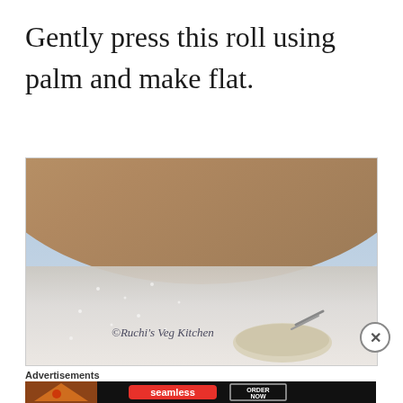Gently press this roll using palm and make flat.
[Figure (photo): Photo of dough being pressed flat on a wooden surface dusted with white flour/rice flour, with watermark text '©Ruchi's Veg Kitchen' overlaid in cursive.]
Advertisements
[Figure (photo): Advertisement banner for Seamless food ordering service showing pizza image on left, red Seamless logo button in center, and 'ORDER NOW' button on right, on dark background.]